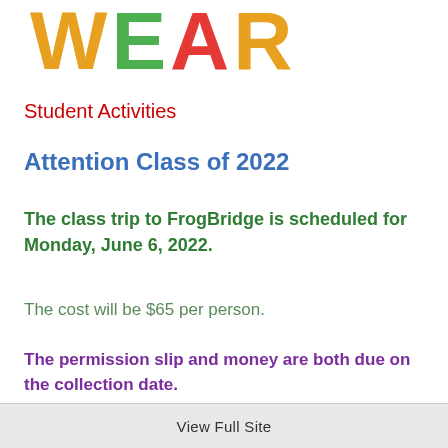[Figure (logo): Partial colorful 'WEAR' logo text in bold bubble letters, multicolored (yellow-green W, green E, red A, yellow-green R with blue and purple accents), cropped at top]
Student Activities
Attention Class of 2022
The class trip to FrogBridge is scheduled for Monday, June 6, 2022.
The cost will be $65 per person.
The permission slip and money are both due on the collection date.
View Full Site